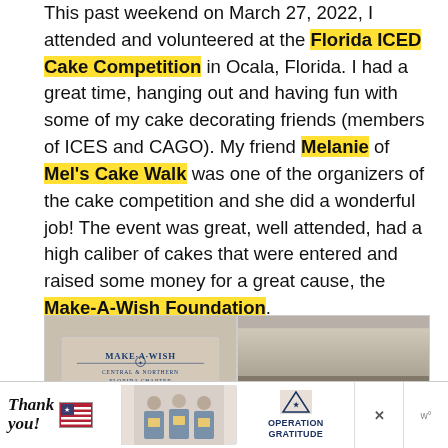This past weekend on March 27, 2022, I attended and volunteered at the Florida ICED Cake Competition in Ocala, Florida. I had a great time, hanging out and having fun with some of my cake decorating friends (members of ICES and CAGO). My friend Melanie of Mel's Cake Walk was one of the organizers of the cake competition and she did a wonderful job! The event was great, well attended, had a high caliber of cakes that were entered and raised some money for a great cause, the Make-A-Wish Foundation.
[Figure (photo): Two photos side by side: left shows a Make-A-Wish Central and Northern Florida Chapter bag/tote; right shows a crowded event hall with attendees]
[Figure (photo): Advertisement banner: Thank You with flag graphic on left, three workers with masks holding packages in center, Operation Gratitude logo on right, with close X buttons]